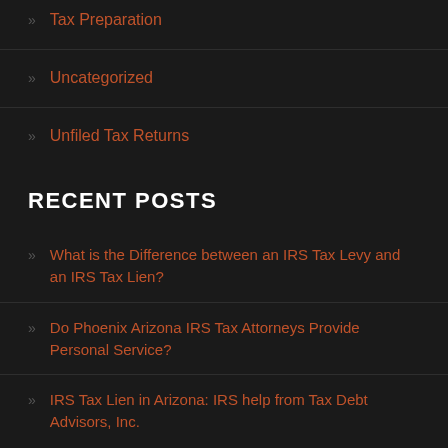Tax Preparation
Uncategorized
Unfiled Tax Returns
RECENT POSTS
What is the Difference between an IRS Tax Levy and an IRS Tax Lien?
Do Phoenix Arizona IRS Tax Attorneys Provide Personal Service?
IRS Tax Lien in Arizona: IRS help from Tax Debt Advisors, Inc.